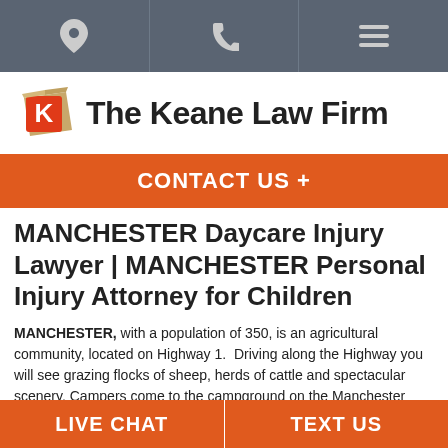Navigation bar with location, phone, and menu icons
[Figure (logo): The Keane Law Firm logo with a box-shaped K icon and firm name text]
CONTACT US +
MANCHESTER Daycare Injury Lawyer | MANCHESTER Personal Injury Attorney for Children
MANCHESTER, with a population of 350, is an agricultural community, located on Highway 1.  Driving along the Highway you will see grazing flocks of sheep, herds of cattle and spectacular scenery. Campers come to the campground on the Manchester State Beach. It is here that the MANCHESTER...
LIVE CHAT | TEXT US